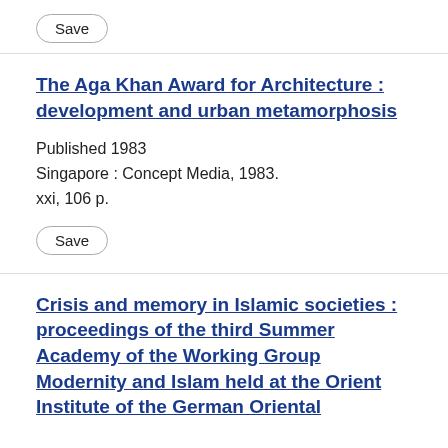Save
The Aga Khan Award for Architecture : development and urban metamorphosis
Published 1983
Singapore : Concept Media, 1983.
xxi, 106 p.
Save
Crisis and memory in Islamic societies : proceedings of the third Summer Academy of the Working Group Modernity and Islam held at the Orient Institute of the German Oriental